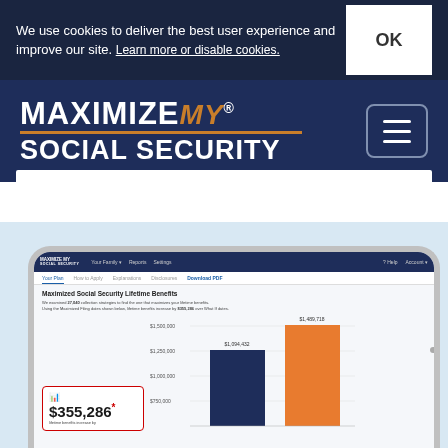We use cookies to deliver the best user experience and improve our site. Learn more or disable cookies.
[Figure (logo): MAXIMIZE my® SOCIAL SECURITY logo in white and orange on dark navy background, with hamburger menu button]
[Figure (screenshot): Tablet mockup showing Maximize My Social Security app interface with 'Maximized Social Security Lifetime Benefits' report, bar chart comparing $1,094,432 vs $1,489,718, and a red-bordered box showing $355,286 lifetime benefits increase]